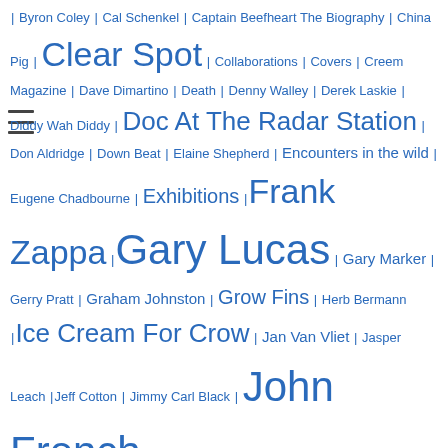Byron Coley | Cal Schenkel | Captain Beefheart The Biography | China Pig | Clear Spot | Collaborations | Covers | Creem Magazine | Dave Dimartino | Death | Denny Walley | Derek Laskie | Diddy Wah Diddy | Doc At The Radar Station | Don Aldridge | Down Beat | Elaine Shepherd | Encounters in the wild | Eugene Chadbourne | Exhibitions | Frank Zappa | Gary Lucas | Gary Marker | Gerry Pratt | Graham Johnston | Grow Fins | Herb Bermann | Ice Cream For Crow | Jan Van Vliet | Jasper Leach | Jeff Cotton | Jimmy Carl Black | John French | John Lennon | John Peel | Knebworth | Knoedler and Co | Kristine McKenna | Legendary A&M Sessions | Lester Bangs | Lick My Decals Off Baby | Los Angeles Times | Magic Band reunion | Mark Boston | Michael Eivaz | Michael Traylor | Michael Werner Gallery | Mike Barnes | Mirror Man | Mojo Magazine | New York Times | Nona Hendryx | Nulsh | Orange Claw Hammer | Orange Claw Hammer (band) | Pamela Des Barres | Paul Brown | Phonograph Record Magazine | Retirement from music | Revenant | Rhino Handmade | Robert Palmer | Rolling Stone | Ry Cooder | Safe As Milk | Samuel Andreyev | Shiny